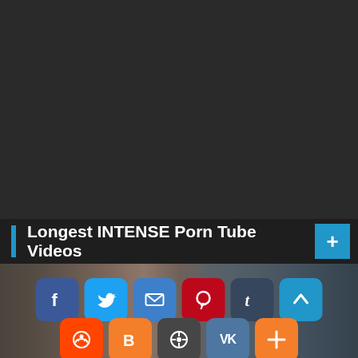[Figure (screenshot): Dark background with a 'SEE MORE NOW' button box (white border, black background top strip with yellow SEE MORE text, black NOW text below) in the upper right area]
Longest INTENSE Porn Tube Videos
[Figure (screenshot): Video thumbnail showing a person in a storage room with social sharing icons overlaid: Facebook, Twitter, Email, Pinterest, Tumblr, scroll-up button in top row; Reddit, Blogger, WordPress, VK, More in bottom row]